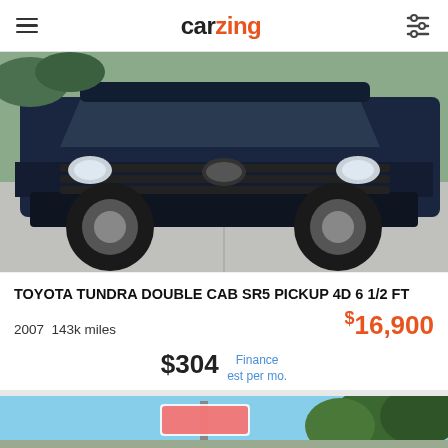carzing
[Figure (photo): Dark navy blue Toyota Tundra truck photographed from front-quarter angle, on concrete surface, with green foliage in background]
TOYOTA TUNDRA DOUBLE CAB SR5 PICKUP 4D 6 1/2 FT
2007  143k miles  $16,900
$304 Finance est per mo.
C3 CANELA CAR COMPANY LLC
SPRINGDALE, AR (0 mi)
[Figure (photo): Partial view of a second vehicle listing showing blue sky, trees, and what appears to be a car lot or dealership sign]